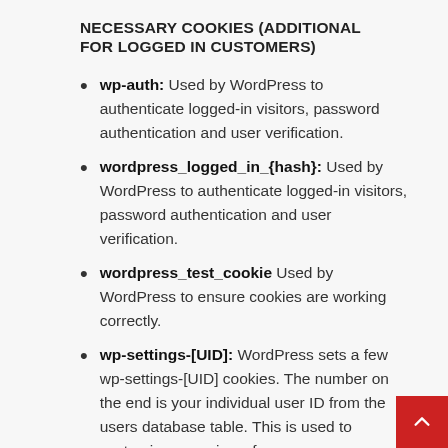NECESSARY COOKIES (ADDITIONAL FOR LOGGED IN CUSTOMERS)
wp-auth: Used by WordPress to authenticate logged-in visitors, password authentication and user verification.
wordpress_logged_in_{hash}: Used by WordPress to authenticate logged-in visitors, password authentication and user verification.
wordpress_test_cookie Used by WordPress to ensure cookies are working correctly.
wp-settings-[UID]: WordPress sets a few wp-settings-[UID] cookies. The number on the end is your individual user ID from the users database table. This is used to customize your view of